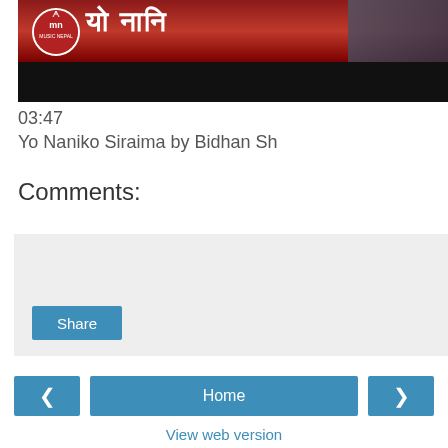[Figure (screenshot): Video thumbnail showing Music Nepal logo on red background with Devanagari/Hindi text and people in background, with black bar at bottom]
03:47
Yo Naniko Siraima by Bidhan Sh
Comments:
[Figure (other): Comment input/share area with light gray background and Share button]
< Home >
View web version